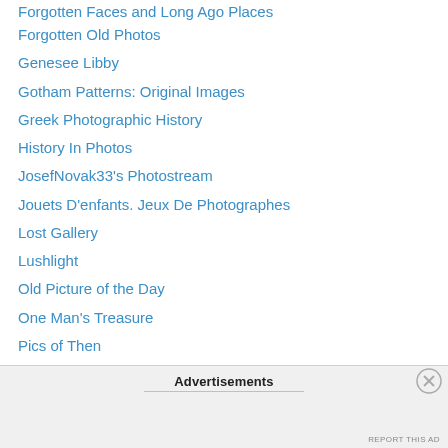Forgotten Faces and Long Ago Places
Forgotten Old Photos
Genesee Libby
Gotham Patterns: Original Images
Greek Photographic History
History In Photos
JosefNovak33's Photostream
Jouets D'enfants. Jeux De Photographes
Lost Gallery
Lushlight
Old Picture of the Day
One Man's Treasure
Pics of Then
Portraits of Children (French Site)
Rescued Family Photographs
Retro Vintage Photography
Save Family Photos
Advertisements
REPORT THIS AD